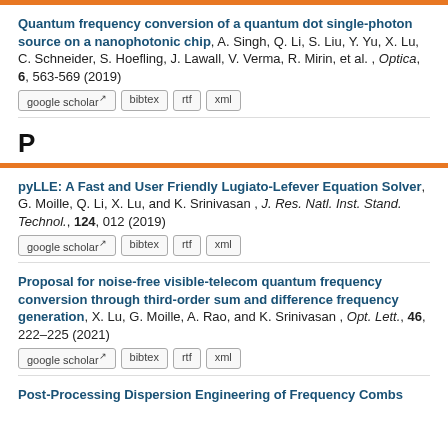Quantum frequency conversion of a quantum dot single-photon source on a nanophotonic chip, A. Singh, Q. Li, S. Liu, Y. Yu, X. Lu, C. Schneider, S. Hoefling, J. Lawall, V. Verma, R. Mirin, et al. , Optica, 6, 563-569 (2019)
P
pyLLE: A Fast and User Friendly Lugiato-Lefever Equation Solver, G. Moille, Q. Li, X. Lu, and K. Srinivasan , J. Res. Natl. Inst. Stand. Technol., 124, 012 (2019)
Proposal for noise-free visible-telecom quantum frequency conversion through third-order sum and difference frequency generation, X. Lu, G. Moille, A. Rao, and K. Srinivasan , Opt. Lett., 46, 222–225 (2021)
Post-Processing Dispersion Engineering of Frequency Combs